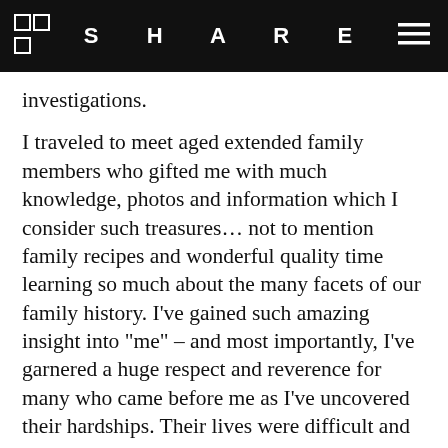SHARE
investigations.
I traveled to meet aged extended family members who gifted me with much knowledge, photos and information which I consider such treasures… not to mention family recipes and wonderful quality time learning so much about the many facets of our family history. I’ve gained such amazing insight into “me” – and most importantly, I’ve garnered a huge respect and reverence for many who came before me as I’ve uncovered their hardships. Their lives were difficult and it’s made me appreciate my blessings even more than I already did. Hours spent with many other relatives, some known and